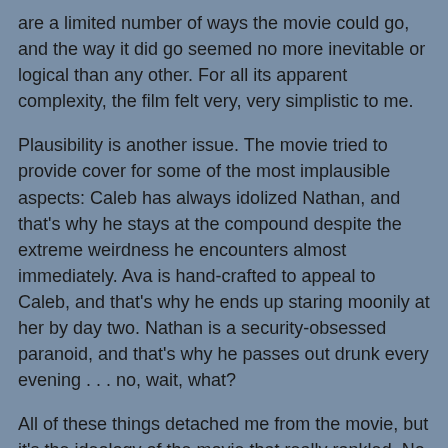are a limited number of ways the movie could go, and the way it did go seemed no more inevitable or logical than any other. For all its apparent complexity, the film felt very, very simplistic to me.
Plausibility is another issue. The movie tried to provide cover for some of the most implausible aspects: Caleb has always idolized Nathan, and that's why he stays at the compound despite the extreme weirdness he encounters almost immediately. Ava is hand-crafted to appeal to Caleb, and that's why he ends up staring moonily at her by day two. Nathan is a security-obsessed paranoid, and that's why he passes out drunk every evening . . . no, wait, what?
All of these things detached me from the movie, but it's the ideology of the movie that really rankled. No movie can be reduced to a "message," but I'm sure the filmmakers and critics would say the movie is about questions of autonomy, freedom, maybe even female empowerment and the male desire to control or rescue. But the medium is the message, as we know. And the medium here is two hours of imagery of stereotypical female allure. Ava is beautiful in that blank,